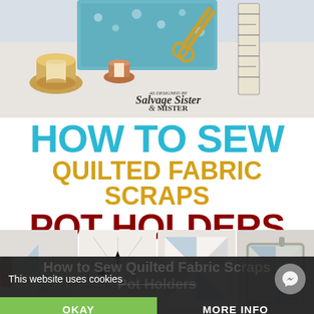[Figure (photo): Hero image of sewing/quilting supplies: thread spools, scissors, ruler, blue floral fabric on white surface, with 'Salvage Sister & Mister' text logo overlay]
HOW TO SEW QUILTED FABRIC SCRAPS POT HOLDERS
[Figure (photo): Four step-by-step photos showing how to sew quilted fabric scrap pot holders: folded fabric pieces, fabric with arrows showing turning point, flat quilt block, finished pot holder with hanger]
This website uses cookies
How to Sew Quilted Fabric Scraps Pot Holders
OKAY
MORE INFO